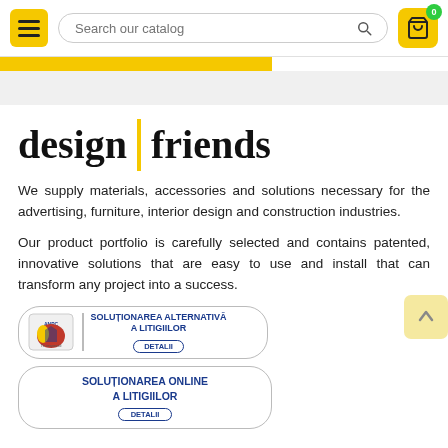Search our catalog — navigation header with menu button and cart
design | friends
We supply materials, accessories and solutions necessary for the advertising, furniture, interior design and construction industries.
Our product portfolio is carefully selected and contains patented, innovative solutions that are easy to use and install that can transform any project into a success.
[Figure (logo): ANPC - Solutionarea Alternativa a Litigiilor badge with DETALII button]
[Figure (logo): Solutionarea Online a Litigiilor badge with DETALII button]